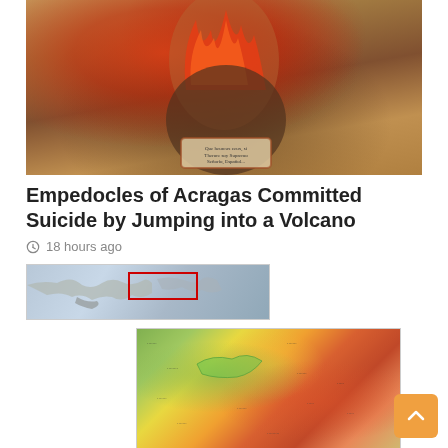[Figure (illustration): Historical illustration of Empedocles depicted as a figure with red/orange flames on head, standing against a brownish-tan background with script text on a decorative cartouche at the bottom]
Empedocles of Acragas Committed Suicide by Jumping into a Volcano
18 hours ago
[Figure (map): Small grayscale map showing a region with a red rectangle highlighting a specific area, likely the Mediterranean/Cyprus region]
[Figure (map): Colorful topographic/relief map showing a region in warm yellows, oranges, reds and greens with place name labels]